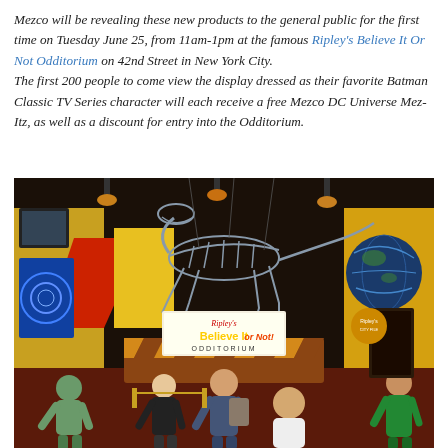Mezco will be revealing these new products to the general public for the first time on Tuesday June 25, from 11am-1pm at the famous Ripley's Believe It Or Not Odditorium on 42nd Street in New York City. The first 200 people to come view the display dressed as their favorite Batman Classic TV Series character will each receive a free Mezco DC Universe Mez-Itz, as well as a discount for entry into the Odditorium.
[Figure (photo): Interior of Ripley's Believe It Or Not Odditorium in New York City. A large dinosaur skeleton is suspended from the ceiling. Visitors are visible on the floor below. A central reception desk displays the Ripley's Believe It or Not! Odditorium sign in yellow and white. The walls are brightly colored in yellow and red. Various exhibits including a globe, TV screens, and display cases are visible.]